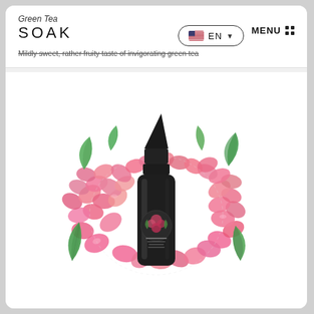Green Tea SOAK — Mildly sweet, rather fruity taste of invigorating green tea
[Figure (photo): A black e-liquid bottle with pointed cap, labeled with a pink floral bouquet design, surrounded by pink candy-coated peanuts and green leaves on a white background.]